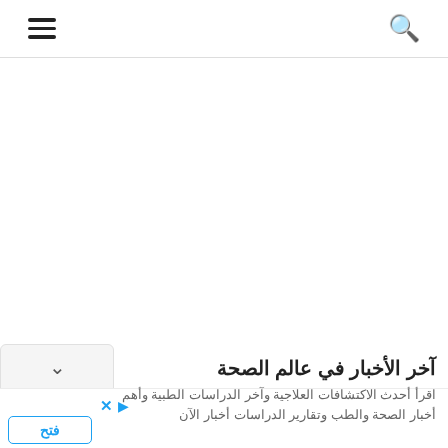≡  🔍
∨
آخر الأخبار في عالم الصحة
اقرأ أحدث الاكتشافات العلاجية وآخر الدراسات الطبية وأهم أخبار الصحة والطب وتقارير الدراسات أخبار الآن